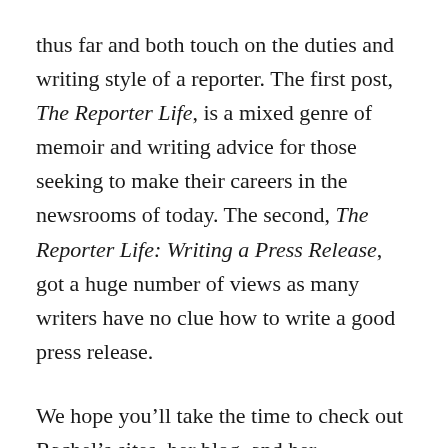thus far and both touch on the duties and writing style of a reporter. The first post, The Reporter Life, is a mixed genre of memoir and writing advice for those seeking to make their careers in the newsrooms of today. The second, The Reporter Life: Writing a Press Release, got a huge number of views as many writers have no clue how to write a good press release.
We hope you’ll take the time to check out Rachel’s sites, her blog, and her publications. We hope that you will become a fan of Rachell in the same way that we have.